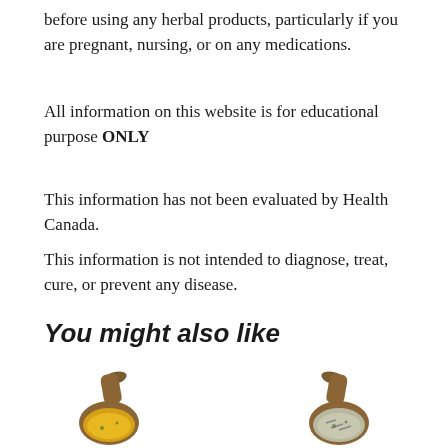before using any herbal products, particularly if you are pregnant, nursing, or on any medications.
All information on this website is for educational purpose ONLY
This information has not been evaluated by Health Canada.
This information is not intended to diagnose, treat, cure, or prevent any disease.
You might also like
[Figure (photo): Two wooden spoons with herbal spices/powders on a white background — left spoon contains yellow/orange powder, right spoon contains dried herbs/seeds]